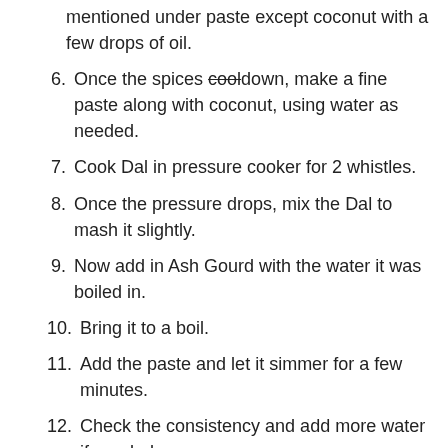mentioned under paste except coconut with a few drops of oil.
6. Once the spices cool down, make a fine paste along with coconut, using water as needed.
7. Cook Dal in pressure cooker for 2 whistles.
8. Once the pressure drops, mix the Dal to mash it slightly.
9. Now add in Ash Gourd with the water it was boiled in.
10. Bring it to a boil.
11. Add the paste and let it simmer for a few minutes.
12. Check the consistency and add more water if needed.